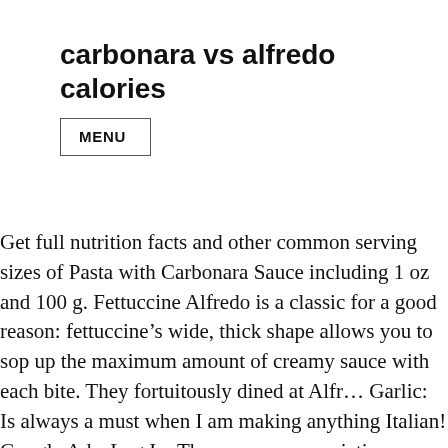carbonara vs alfredo calories
MENU
Get full nutrition facts and other common serving sizes of Pasta with Carbonara Sauce including 1 oz and 100 g. Fettuccine Alfredo is a classic for a good reason: fettuccine’s wide, thick shape allows you to sop up the maximum amount of creamy sauce with each bite. They fortuitously dined at Alfr… Garlic: Is always a must when I am making anything Italian! Google Ads. Log In. There are many variations. Season with salt and pepper to taste if desired. The pancetta in carbonara gives this